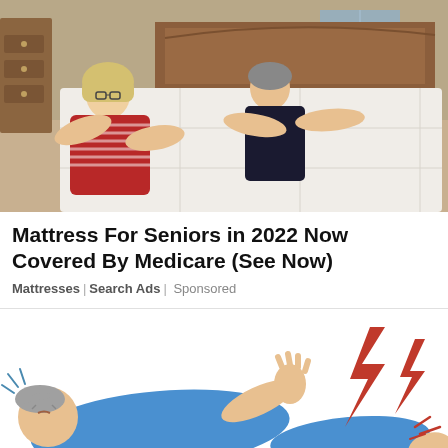[Figure (photo): Two elderly people (a woman in a striped red sweater with glasses and a man in a dark shirt) leaning over a white mattress on a wooden bed frame in a bedroom setting.]
Mattress For Seniors in 2022 Now Covered By Medicare (See Now)
Mattresses | Search Ads | Sponsored
[Figure (illustration): Cartoon illustration of a person lying on their back in pain, wearing a blue shirt, with red lightning bolt symbols near their foot indicating pain or injury.]